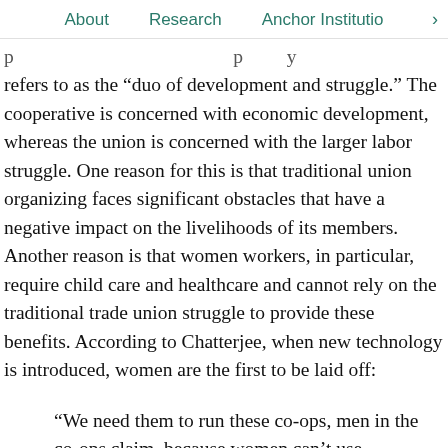About   Research   Anchor Institutio  >
refers to as the “duo of development and struggle.” The cooperative is concerned with economic development, whereas the union is concerned with the larger labor struggle. One reason for this is that traditional union organizing faces significant obstacles that have a negative impact on the livelihoods of its members. Another reason is that women workers, in particular, require child care and healthcare and cannot rely on the traditional trade union struggle to provide these benefits. According to Chatterjee, when new technology is introduced, women are the first to be laid off:
“We need them to run these co-ops, men in the co-ops claim, because women can’t use technology(sic). As a result, once the hard work